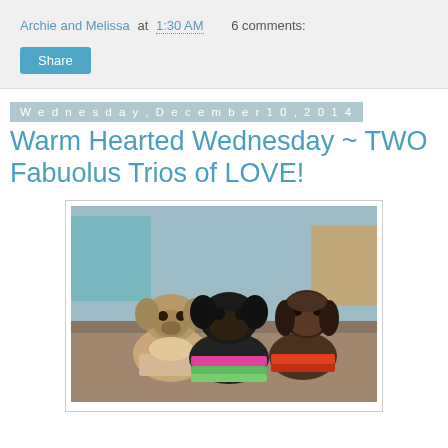Archie and Melissa at 1:30 AM    6 comments:
Share
Wednesday, December 10, 2014
Warm Hearted Wednesday ~ TWO Fabuolus Trios of LOVE!
[Figure (photo): Three small dogs sitting together on a couch, each wearing colorful crocheted sweaters/outfits. Left dog is a tan/grey pug, middle dog is a black pug in a pink and green striped sweater, right dog is a small dark brown terrier-type dog in a red/orange sweater.]